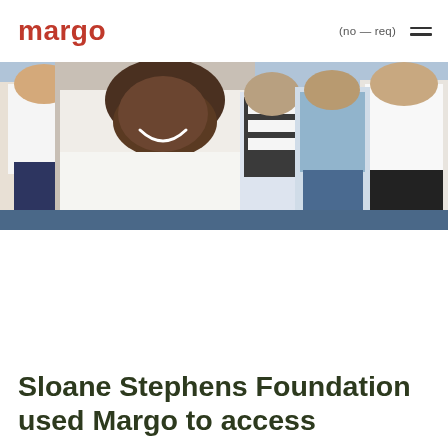margo    (no ꟷ req)  ☰
[Figure (photo): A smiling Black woman in a white t-shirt takes a selfie with a group of young girls, some holding tennis rackets, on an indoor tennis court. The group is diverse and appears happy.]
Sloane Stephens Foundation used Margo to access